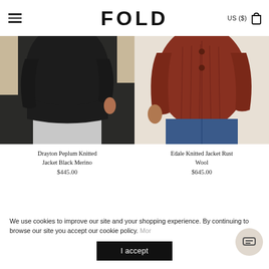FOLD — US ($)
[Figure (photo): Model wearing Drayton Peplum Knitted Jacket in Black Merino — showing lower torso and light grey pants]
Drayton Peplum Knitted Jacket Black Merino
$445.00
[Figure (photo): Model wearing Edale Knitted Jacket in Rust Wool — showing torso with rust-colored cable knit cardigan and dark jeans]
Edale Knitted Jacket Rust Wool
$645.00
We use cookies to improve our site and your shopping experience. By continuing to browse our site you accept our cookie policy. More
I accept